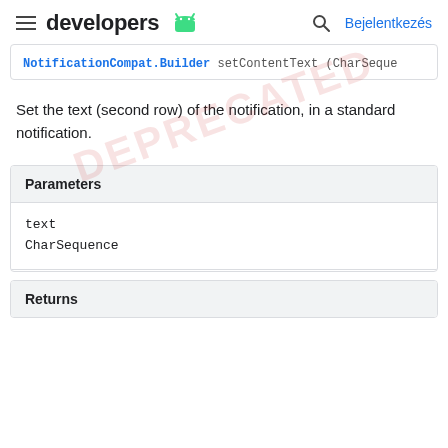developers [android icon] Bejelentkezés
NotificationCompat.Builder setContentText (CharSequence
Set the text (second row) of the notification, in a standard notification.
| Parameters |
| --- |
| text | CharSequence |
| Returns |
| --- |